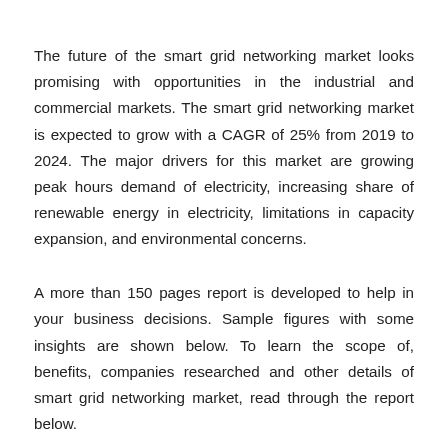The future of the smart grid networking market looks promising with opportunities in the industrial and commercial markets. The smart grid networking market is expected to grow with a CAGR of 25% from 2019 to 2024. The major drivers for this market are growing peak hours demand of electricity, increasing share of renewable energy in electricity, limitations in capacity expansion, and environmental concerns.
A more than 150 pages report is developed to help in your business decisions. Sample figures with some insights are shown below. To learn the scope of, benefits, companies researched and other details of smart grid networking market, read through the report below.